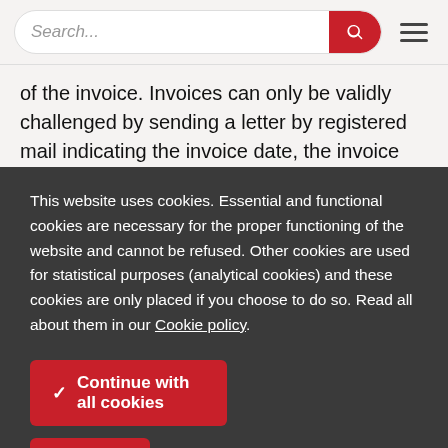[Figure (screenshot): Search bar with red search button and hamburger menu icon]
of the invoice. Invoices can only be validly challenged by sending a letter by registered mail indicating the invoice date, the invoice number as well as a detailed justification
This website uses cookies. Essential and functional cookies are necessary for the proper functioning of the website and cannot be refused. Other cookies are used for statistical purposes (analytical cookies) and these cookies are only placed if you choose to do so. Read all about them in our Cookie policy.
✓ Continue with all cookies
⚙ Configure cookies